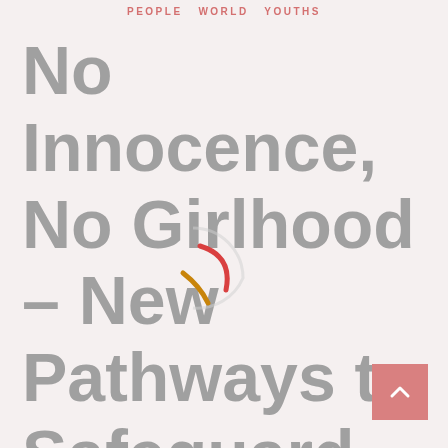PEOPLE  WORLD  YOUTHS
No Innocence, No Girlhood – New Pathways to Safeguard Girl Moms in